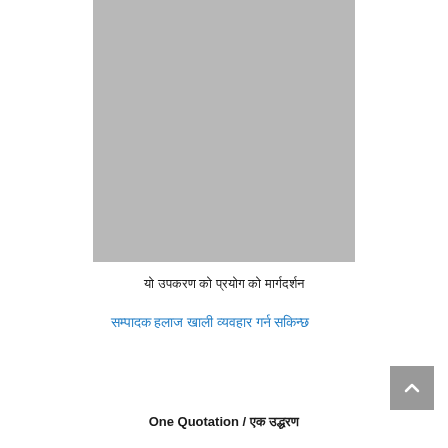[Figure (photo): Gray placeholder image block]
यो उपकरण को प्रयोग को मार्गदर्शन
सम्पादक हलाज खाली व्यवहार गर्न सकिन्छ
One Quotation / एक उद्धरण